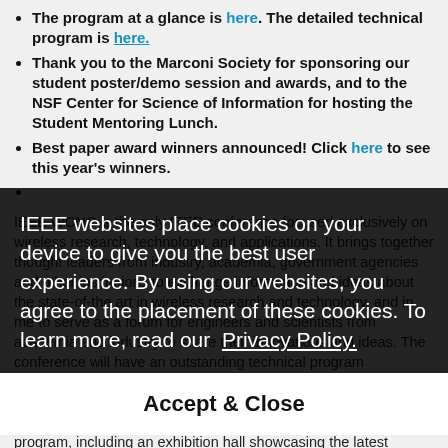The program at a glance is here. The detailed technical program is here.
Thank you to the Marconi Society for sponsoring our student poster/demo session and awards, and to the NSF Center for Science of Information for hosting the Student Mentoring Lunch.
Best paper award winners announced! Click here to see this year's winners.
IEEE WCNC is the only IEEE conference focused exclusively on wireless research, technology, and applications. It brings together thought leaders from industry, academia, government agencies and other institutions to exchange information and ideas about the state-of-the art in wireless research and technology, and in me to serve as a forum for engineers and scientists from academia and industry to share their innovations and ideas. The conference will have an outstanding technical program addressing current hot topics in wireless technology, workshops, tutorials, and panel discussions on today's state-of-the-art as well as what the wireless future will look like. An expanded industry program, including an exhibition hall showcasing the latest wireless technology, will provide opportunities for industry professionals to share and learn about the latest ideas, trends, and product innovations in the wireless industry. The 2017 edition of this conference will be held in San Francisco, CA, USA on March 19–22, 2017 at the Hyatt
IEEE websites place cookies on your device to give you the best user experience. By using our websites, you agree to the placement of these cookies. To learn more, read our Privacy Policy.
Accept & Close